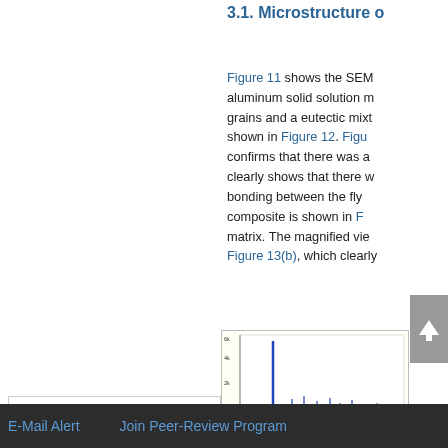3.1. Microstructure o
Figure 11 shows the SEM aluminum solid solution m grains and a eutectic mixt shown in Figure 12. Figu confirms that there was a clearly shows that there w bonding between the fly composite is shown in F matrix. The magnified vie Figure 13(b), which clearly
Top
ABSTRACT
Introduction
Materials and Methods
Results & Discussion
Conclusion
[Figure (continuous-plot): Partial EDX spectrum chart showing peaks, with y-axis labeled and x-axis showing elemental peaks. Background is light yellow.]
Figu (ALF
E-Mail Alert    Join Peer-Review Program